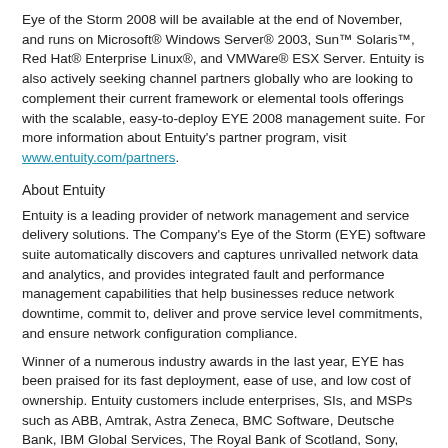Eye of the Storm 2008 will be available at the end of November, and runs on Microsoft® Windows Server® 2003, Sun™ Solaris™, Red Hat® Enterprise Linux®, and VMWare® ESX Server. Entuity is also actively seeking channel partners globally who are looking to complement their current framework or elemental tools offerings with the scalable, easy-to-deploy EYE 2008 management suite. For more information about Entuity's partner program, visit www.entuity.com/partners.
About Entuity
Entuity is a leading provider of network management and service delivery solutions. The Company's Eye of the Storm (EYE) software suite automatically discovers and captures unrivalled network data and analytics, and provides integrated fault and performance management capabilities that help businesses reduce network downtime, commit to, deliver and prove service level commitments, and ensure network configuration compliance.
Winner of a numerous industry awards in the last year, EYE has been praised for its fast deployment, ease of use, and low cost of ownership. Entuity customers include enterprises, SIs, and MSPs such as ABB, Amtrak, Astra Zeneca, BMC Software, Deutsche Bank, IBM Global Services, The Royal Bank of Scotland, Sony, Visteon, and the Williams Companies. For more information on Entuity, please visit www.entuity.com or call +1-508-357-6346 (North America) or +44 (0) 20 7444 4900 (Europe).